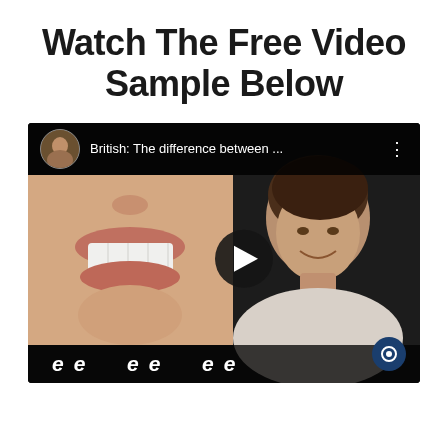Watch The Free Video Sample Below
[Figure (screenshot): YouTube video player screenshot showing a video titled 'British: The difference between ...' with a woman speaking on the right side and a close-up of a mouth on the left showing teeth, with 'ee ee ee' text in the lower left and a play button in the center.]